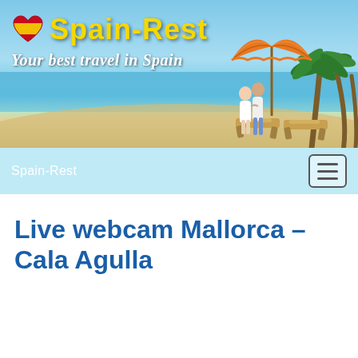[Figure (illustration): Spain-Rest website header banner showing a tropical beach scene with a couple standing near sun loungers under an orange beach umbrella with palm trees in the background. The logo 'Spain-Rest' with a heart-shaped Spanish flag icon appears top left, with tagline 'Your best travel in Spain'.]
Spain-Rest
Live webcam Mallorca – Cala Agulla